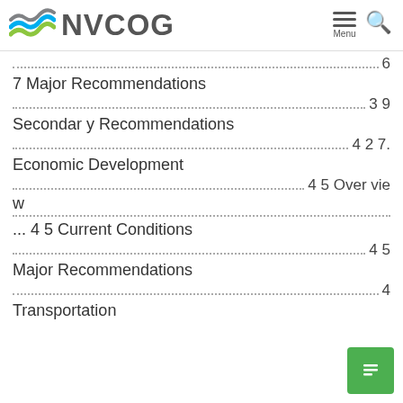NVCOG
7 Major Recommendations .......39
Secondary Recommendations .......42
7. Economic Development
Overview .......45
... 45 Current Conditions
Major Recommendations .......45
4
Transportation